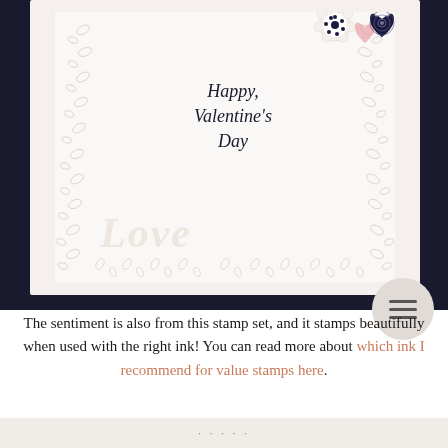[Figure (photo): Close-up photo of a handmade Valentine's Day card. The white card features an embossed leaf border wrapping around the edges, a script sentiment reading 'Happy Valentine's Day' in dark navy ink, die-cut 'Love' word in white embossed letters, and decorative floral/heart embellishments in the top right corner with navy blue dot patterns. The card is set against a dark black background.]
The sentiment is also from this stamp set, and it stamps beautifully when used with the right ink! You can read more about which ink I recommend for value stamps here.